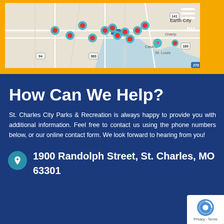[Figure (map): Google Maps view showing St. Charles, MO area near Earth City and St. Louis with multiple location pins/markers on streets and casino area, on yellow background header]
How Can We Help?
St. Charles City Parks & Recreation is always happy to provide you with additional information. Feel free to contact us using the phone numbers below, or our online contact form. We look forward to hearing from you!
1900 Randolph Street, St. Charles, MO 63301